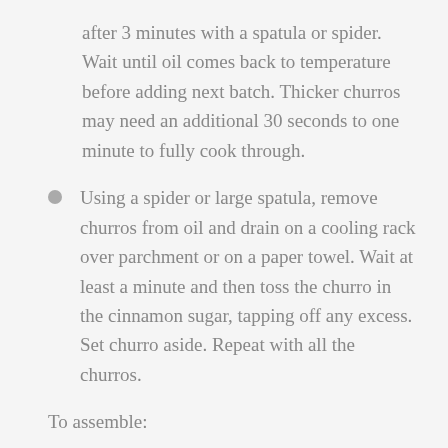after 3 minutes with a spatula or spider. Wait until oil comes back to temperature before adding next batch. Thicker churros may need an additional 30 seconds to one minute to fully cook through.
Using a spider or large spatula, remove churros from oil and drain on a cooling rack over parchment or on a paper towel. Wait at least a minute and then toss the churro in the cinnamon sugar, tapping off any excess. Set churro aside. Repeat with all the churros.
To assemble:
Scoop out about 2 ounces of ice cream